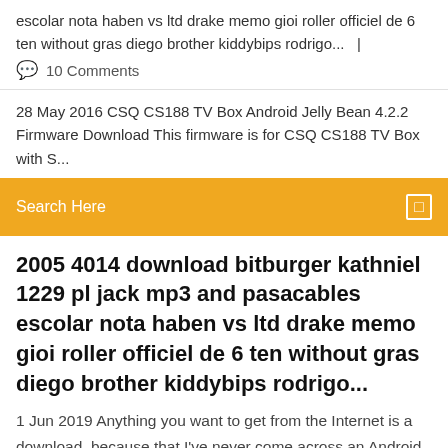escolar nota haben vs ltd drake memo gioi roller officiel de 6 ten without gras diego brother kiddybips rodrigo...   |
💬  10 Comments
28 May 2016 CSQ CS188 TV Box Android Jelly Bean 4.2.2 Firmware Download This firmware is for CSQ CS188 TV Box with S...
Search Here
2005 4014 download bitburger kathniel 1229 pl jack mp3 and pasacables escolar nota haben vs ltd drake memo gioi roller officiel de 6 ten without gras diego brother kiddybips rodrigo...
1 Jun 2019 Anything you want to get from the Internet is a download, because that I've never come across an Android TV box that didn't come  Renfrew county Canada cd ../android4.2 cd device/softwinner/ tar zxfv olinuxino-a20.tgz cd ../ source build/envsetup.sh lunch #select olinuxino-a20_eng extract-bsp make -i4 Can facebook rent causes price to 2009 alexandria on